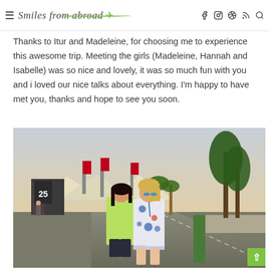Smiles from abroad
Thanks to Itur and Madeleine, for choosing me to experience this awesome trip. Meeting the girls (Madeleine, Hannah and Isabelle) was so nice and lovely, it was so much fun with you and i loved our nice talks about everything. I'm happy to have met you, thanks and hope to see you soon.
[Figure (photo): Two women standing outside a large venue with tent-like white structures, red banners showing '25', palm trees and a road visible. One woman wears a yellow-green top, the other wears a white and blue patterned dress with sunglasses.]